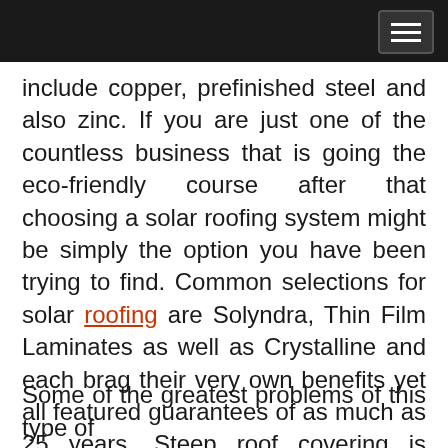[hamburger menu button]
include copper, prefinished steel and also zinc. If you are just one of the countless business that is going the eco-friendly course after that choosing a solar roofing system might be simply the option you have been trying to find. Common selections for solar roofing are Solyndra, Thin Film Laminates as well as Crystalline and each brag their very own benefits yet all featured guarantees of as much as 25 years. Steep roof covering is getting in popularity as well as well as this selection can bring a cosmetically pleasing seek to your organization.
Some of the greatest problems of this type of